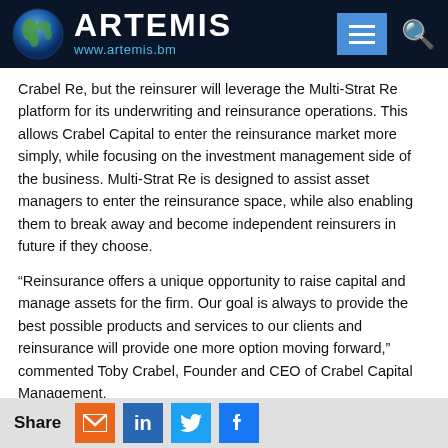ARTEMIS www.artemis.bm
Crabel Re, but the reinsurer will leverage the Multi-Strat Re platform for its underwriting and reinsurance operations. This allows Crabel Capital to enter the reinsurance market more simply, while focusing on the investment management side of the business. Multi-Strat Re is designed to assist asset managers to enter the reinsurance space, while also enabling them to break away and become independent reinsurers in future if they choose.
“Reinsurance offers a unique opportunity to raise capital and manage assets for the firm. Our goal is always to provide the best possible products and services to our clients and reinsurance will provide one more option moving forward,” commented Toby Crabel, Founder and CEO of Crabel Capital Management.
Crabel Capital is a global alternative investment firm, focused on
Share